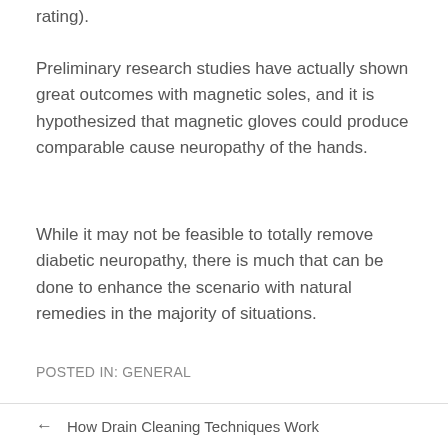rating).
Preliminary research studies have actually shown great outcomes with magnetic soles, and it is hypothesized that magnetic gloves could produce comparable cause neuropathy of the hands.
While it may not be feasible to totally remove diabetic neuropathy, there is much that can be done to enhance the scenario with natural remedies in the majority of situations.
POSTED IN: GENERAL
← How Drain Cleaning Techniques Work